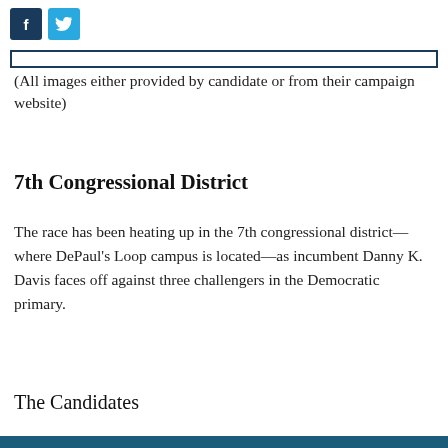[Figure (other): Social media share buttons: Facebook (dark navy) and Twitter (light blue)]
(All images either provided by candidate or from their campaign website)
7th Congressional District
The race has been heating up in the 7th congressional district—where DePaul's Loop campus is located—as incumbent Danny K. Davis faces off against three challengers in the Democratic primary.
The Candidates